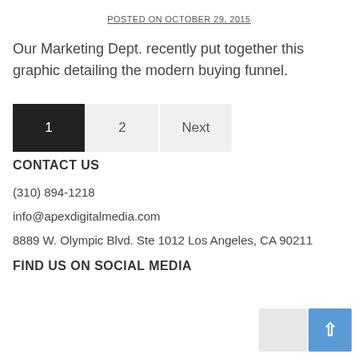POSTED ON OCTOBER 29, 2015
Our Marketing Dept. recently put together this graphic detailing the modern buying funnel.
1  2  Next
CONTACT US
(310) 894-1218
info@apexdigitalmedia.com
8889 W. Olympic Blvd. Ste 1012 Los Angeles, CA 90211
FIND US ON SOCIAL MEDIA